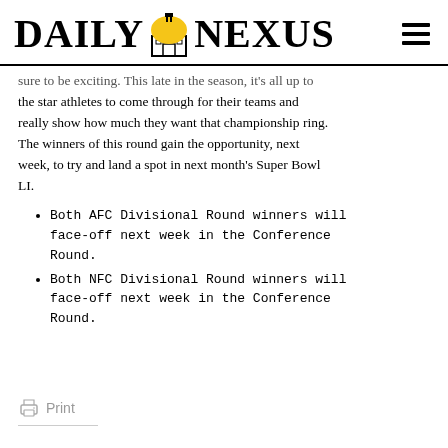DAILY NEXUS
sure to be exciting. This late in the season, it's all up to the star athletes to come through for their teams and really show how much they want that championship ring. The winners of this round gain the opportunity, next week, to try and land a spot in next month's Super Bowl LI.
Both AFC Divisional Round winners will face-off next week in the Conference Round.
Both NFC Divisional Round winners will face-off next week in the Conference Round.
Print